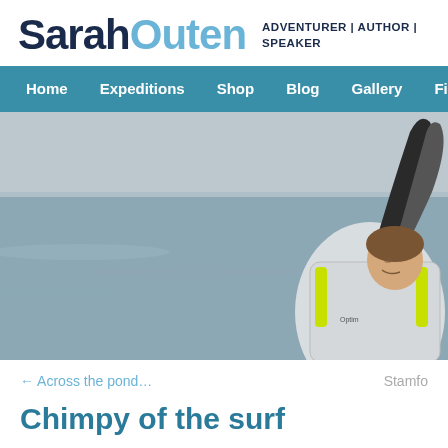SarahOuten ADVENTURER | AUTHOR | SPEAKER
Home | Expeditions | Shop | Blog | Gallery | Film | Contact
[Figure (photo): A person in a white sailing jacket and yellow life vest raises their arm while at sea, with grey ocean water in the background.]
← Across the pond…
Stamfo
Chimpy of the surf